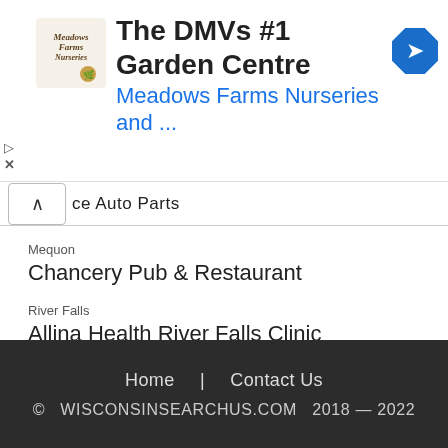[Figure (other): Advertisement banner for Meadows Farms Nurseries with logo and navigation icon]
ce Auto Parts
Mequon
Chancery Pub & Restaurant
River Falls
Allina Health River Falls Clinic
Madison
Countryside Animal Clinic
Waukesha
Waukesha Physical Therapy Clinics
Home | Contact Us
© WISCONSINSEARCHUS.COM 2018 — 2022